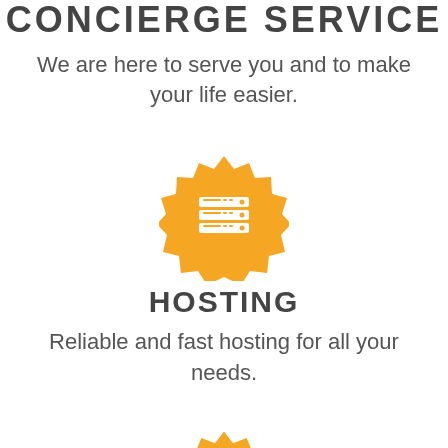CONCIERGE SERVICE
We are here to serve you and to make your life easier.
[Figure (illustration): Orange badge/seal icon with server stack (hosting) symbol in white]
HOSTING
Reliable and fast hosting for all your needs.
[Figure (illustration): Orange badge/seal icon with bank/institution building symbol in white]